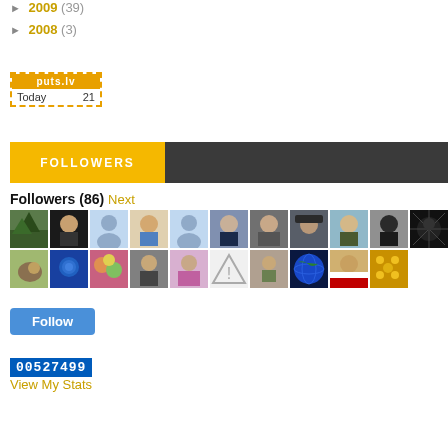► 2009 (39)
► 2008 (3)
[Figure (screenshot): puts.lv counter widget showing 'Today 21']
[Figure (infographic): FOLLOWERS banner with yellow left section and dark right section]
Followers (86) Next
[Figure (photo): Grid of follower avatar thumbnails, two rows of 11 avatars each]
[Figure (screenshot): Follow button (blue)]
[Figure (screenshot): Counter widget showing 00527499]
View My Stats